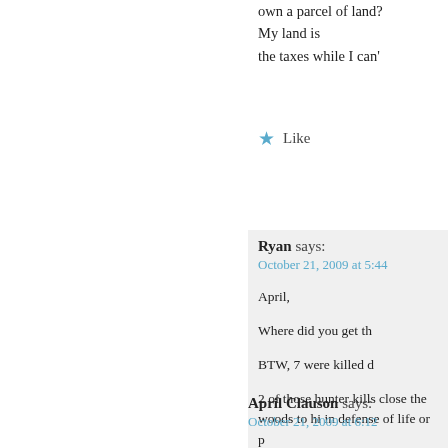own a parcel of land? My land is the taxes while I can'
Like
[Figure (illustration): Red geometric/diamond-pattern avatar icon for user Ryan]
Ryan says:
October 21, 2009 at 5:44
April,

Where did you get th

BTW, 7 were killed d

2 of those hunter kills close the woods to hi in defense of life or p
http://www.nrmsc.usg
Like
[Figure (illustration): Green geometric/diamond-pattern avatar icon for user April Clauson]
April Clauson says:
October 21, 2009 at 6:12